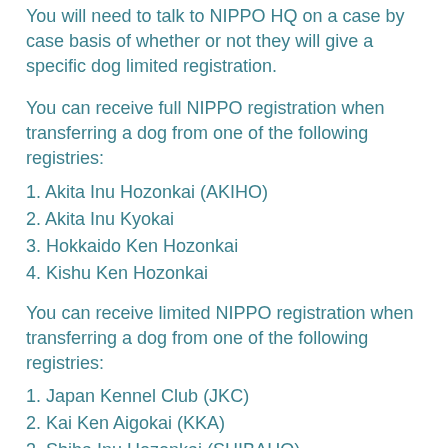You will need to talk to NIPPO HQ on a case by case basis of whether or not they will give a specific dog limited registration.
You can receive full NIPPO registration when transferring a dog from one of the following registries:
1. Akita Inu Hozonkai (AKIHO)
2. Akita Inu Kyokai
3. Hokkaido Ken Hozonkai
4. Kishu Ken Hozonkai
You can receive limited NIPPO registration when transferring a dog from one of the following registries:
1. Japan Kennel Club (JKC)
2. Kai Ken Aigokai (KKA)
3. Shiba Inu Hozonkai (SHIBAHO)
4. Hokkaido Ken Kyokai
5. China Kennel Association (CKA)
6. Taiwan Kennel Association (TKA)